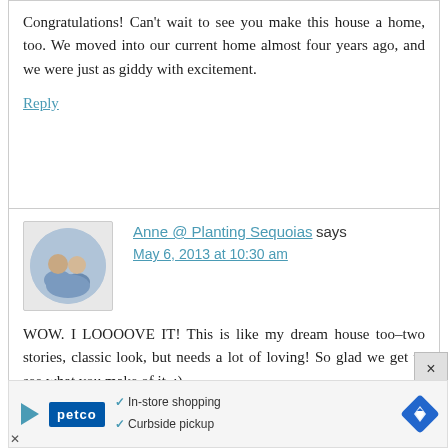Congratulations! Can't wait to see you make this house a home, too. We moved into our current home almost four years ago, and we were just as giddy with excitement.
Reply
Anne @ Planting Sequoias says
May 6, 2013 at 10:30 am
WOW. I LOOOOVE IT! This is like my dream house too–two stories, classic look, but needs a lot of loving! So glad we get to see what you make of it. :)
[Figure (other): Petco advertisement banner with logo, checkmarks for In-store shopping and Curbside pickup, and a blue diamond navigation icon]